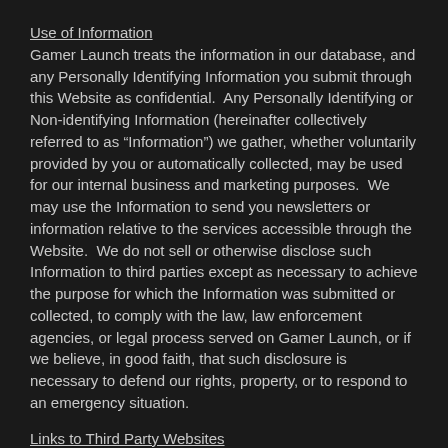Use of Information
Gamer Launch treats the information in our database, and any Personally Identifying Information you submit through this Website as confidential.  Any Personally Identifying or Non-identifying Information (hereinafter collectively referred to as “Information”) we gather, whether voluntarily provided by you or automatically collected, may be used for our internal business and marketing purposes.  We may use the Information to send you newsletters or information relative to the services accessible through the Website.  We do not sell or otherwise disclose such Information to third parties except as necessary to achieve the purpose for which the Information was submitted or collected, to comply with the law, law enforcement agencies, or legal process served on Gamer Launch, or if we believe, in good faith, that such disclosure is necessary to defend our rights, property, or to respond to an emergency situation.
Links to Third Party Websites
This Website may contain links to other Websites owned and